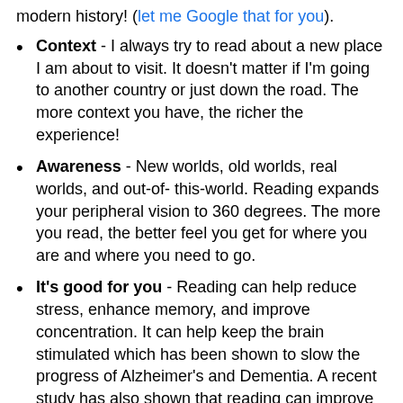modern history! (let me Google that for you).
Context - I always try to read about a new place I am about to visit. It doesn't matter if I'm going to another country or just down the road. The more context you have, the richer the experience!
Awareness - New worlds, old worlds, real worlds, and out-of- this-world. Reading expands your peripheral vision to 360 degrees. The more you read, the better feel you get for where you are and where you need to go.
It's good for you - Reading can help reduce stress, enhance memory, and improve concentration. It can help keep the brain stimulated which has been shown to slow the progress of Alzheimer's and Dementia. A recent study has also shown that reading can improve the connectivity between the various brain circuits that are essential to understanding the written word, and that simply reading a novel can keep that enhanced connectivity working long after the